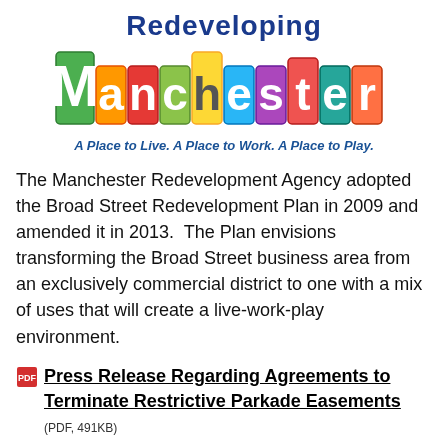[Figure (logo): Redeveloping Manchester logo with colorful illustrated lettering and tagline 'A Place to Live. A Place to Work. A Place to Play.']
The Manchester Redevelopment Agency adopted the Broad Street Redevelopment Plan in 2009 and amended it in 2013.  The Plan envisions transforming the Broad Street business area from an exclusively commercial district to one with a mix of uses that will create a live-work-play environment.
Press Release Regarding Agreements to Terminate Restrictive Parkade Easements (PDF, 491KB)
The Broad Street Redevelopment Project: A Narrative Timeline (PDF, 2MB)